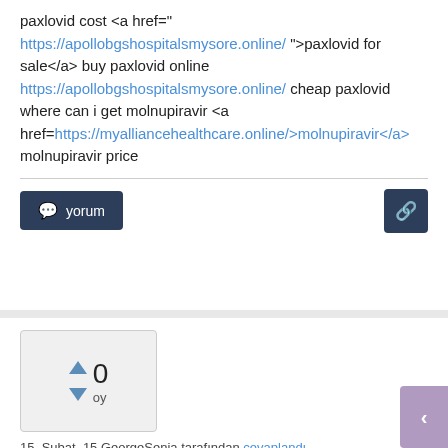paxlovid cost <a href=" https://apollobgshospitalsmysore.online/ ">paxlovid for sale</a> buy paxlovid online https://apollobgshospitalsmysore.online/ cheap paxlovid where can i get molnupiravir <a href=https://myalliancehealthcare.online/>molnupiravir</a> molnupiravir price
yorum
0 oy
15, Şubat, 15 GeorgeSenia tarafından cevaplandı
paxlovid cost <a href=" https://apollobgshospitalsmysore.online/ ">paxlovid